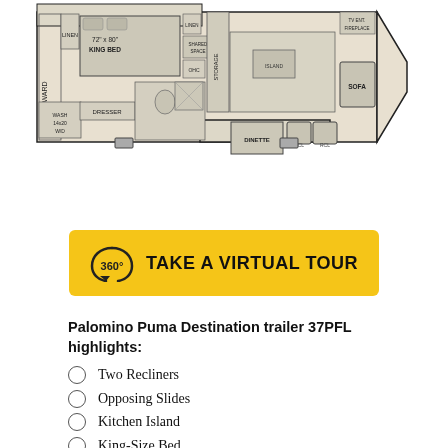[Figure (engineering-diagram): RV floor plan schematic for Palomino Puma Destination trailer 37PFL showing layout with king bed, wardrobe, linen, dresser, overhead storage, dinette, two recliners, sofa, bathroom, and hitch.]
TAKE A VIRTUAL TOUR
Palomino Puma Destination trailer 37PFL highlights:
Two Recliners
Opposing Slides
Kitchen Island
King-Size Bed